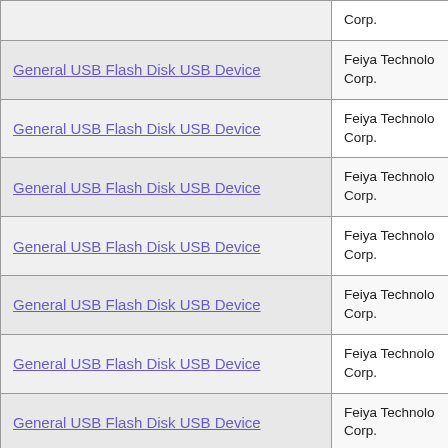| Device Name | Manufacturer |
| --- | --- |
| General USB Flash Disk USB Device | Feiya Technology Corp. |
| General USB Flash Disk USB Device | Feiya Technology Corp. |
| General USB Flash Disk USB Device | Feiya Technology Corp. |
| General USB Flash Disk USB Device | Feiya Technology Corp. |
| General USB Flash Disk USB Device | Feiya Technology Corp. |
| General USB Flash Disk USB Device | Feiya Technology Corp. |
| General USB Flash Disk USB Device | Feiya Technology Corp. |
| General USB Flash Disk USB Device | Feiya Technology Corp. |
| General USB Flash Disk USB Device | Feiya Technology Corp. |
| General USB Flash Disk USB Device | Feiya Technology Corp. |
| General USB Flash Disk USB Device | Feiya Technology Corp. |